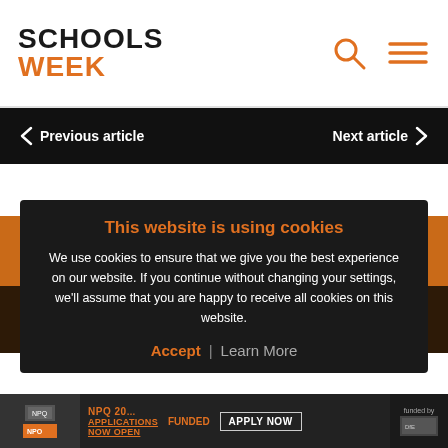SCHOOLS WEEK
Previous article
Next article
Subscribe
Become a subscriber and stay up to date with the latest … ssions.
This website is using cookies
We use cookies to ensure that we give you the best experience on our website. If you continue without changing your settings, we'll assume that you are happy to receive all cookies on this website.
Accept / Learn More
NPQ 20… APPLICATIONS NOW OPEN FUNDED APPLY NOW